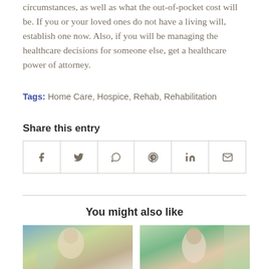circumstances, as well as what the out-of-pocket cost will be. If you or your loved ones do not have a living will, establish one now. Also, if you will be managing the healthcare decisions for someone else, get a healthcare power of attorney.
Tags: Home Care, Hospice, Rehab, Rehabilitation
Share this entry
[Figure (other): Social share buttons row with icons for Facebook, Twitter, WhatsApp, Pinterest, LinkedIn, and Email]
You might also like
[Figure (photo): Photo of adult and elderly person, healthcare/home care context]
[Figure (photo): Photo of smiling woman with curly hair, healthcare/home care context]